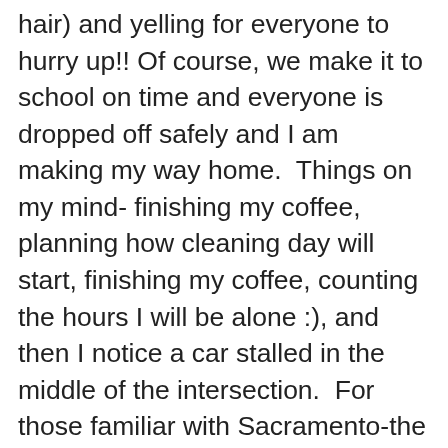hair) and yelling for everyone to hurry up!! Of course, we make it to school on time and everyone is dropped off safely and I am making my way home.  Things on my mind- finishing my coffee, planning how cleaning day will start, finishing my coffee, counting the hours I will be alone :), and then I notice a car stalled in the middle of the intersection.  For those familiar with Sacramento-the car is in the middle of Del Paso and Truxel and for those who are not; there are basically eight lanes of traffic in all directions.  Definitely, not the place to be stalled.  I was stuck at the light and witnessed as the lights changed in other directions how people just drove around the woman and her stalled vehicle.  No one stopped to help or even help block traffic so she could at least get her car out of the way.  So, I decided when my light changed I would pull over to a safe area and go and help.  I